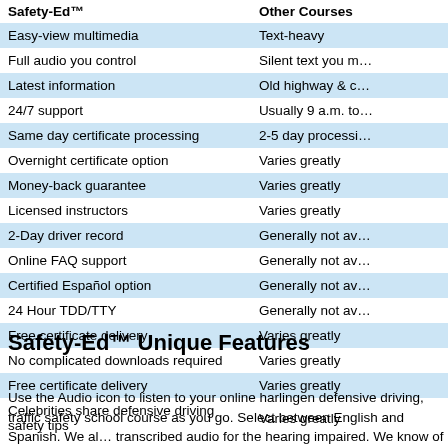| Safety-Ed™ | Other Courses |
| --- | --- |
| Easy-view multimedia | Text-heavy |
| Full audio you control | Silent text you m… |
| Latest information | Old highway & c… |
| 24/7 support | Usually 9 a.m. to… |
| Same day certificate processing | 2-5 day processi… |
| Overnight certificate option | Varies greatly |
| Money-back guarantee | Varies greatly |
| Licensed instructors | Varies greatly |
| 2-Day driver record | Generally not av… |
| Online FAQ support | Generally not av… |
| Certified Español option | Generally not av… |
| 24 Hour TDD/TTY | Generally not av… |
| Free certificate delivery | Varies greatly |
| No complicated downloads required | Varies greatly |
| Free certificate delivery | Varies greatly |
| Celebrities share defensive driving safety tips | Varies greatly |
Safety-Ed™ Unique Features
Use the Audio icon to listen to your online harlingen defensive driving, traffic safety school course as you go. Select between English and Spanish. We al… transcribed audio for the hearing impaired. We know of no other online defe… school driving safety school course that offers our great flexibility, quality, val…